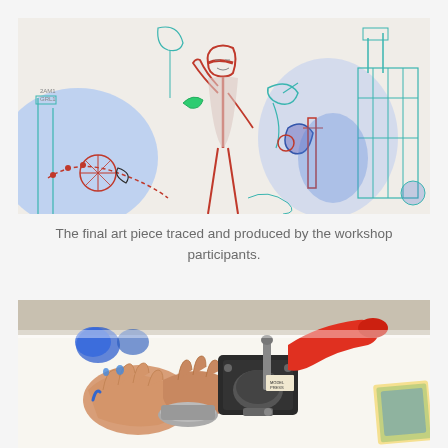[Figure (photo): A large mural artwork drawn on white paper, featuring colorful hand-drawn figures including a central human figure with raised arm wearing a red headband, surrounded by various animals, birds, and abstract mechanical elements in teal, red, blue, and green colors. The mural is illuminated with blue light on the left side.]
The final art piece traced and produced by the workshop participants.
[Figure (photo): Close-up photo of a person's hands using a badge/button maker machine on a white table. The machine has a red handle, metallic press components, and the hands are pressing down on a circular button die. There are blue circular button pieces and colorful printed cards visible on the table.]